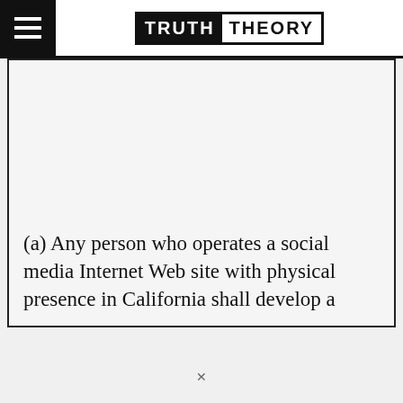TRUTH THEORY
(a) Any person who operates a social media Internet Web site with physical presence in California shall develop a